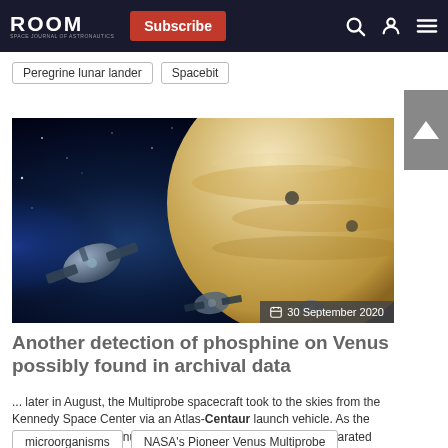ROOM | Subscribe
Peregrine lunar lander
Spacebit
[Figure (illustration): Space scene with a large planet (Venus-like, beige/golden) in the background and a spacecraft probe in the foreground against a black starfield. Date badge: 30 September 2020]
Another detection of phosphine on Venus possibly found in archival data
... later in August, the Multiprobe spacecraft took to the skies from the Kennedy Space Center via an Atlas-Centaur launch vehicle. As the craft encountered Venus, the 875 kg (1930 lb) Multiprobe separated into 5 separate vehicles; the...
microorganisms
NASA's Pioneer Venus Multiprobe